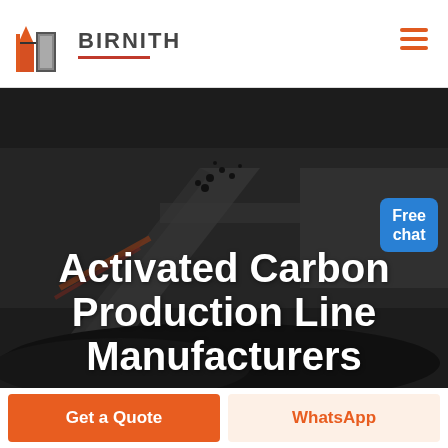[Figure (logo): Birnith company logo with orange/red building icon and company name BIRNITH in bold gray letters with red underline, hamburger menu icon in orange on right]
[Figure (photo): Industrial crushing station machinery with coal/activated carbon material, dark background, workers and equipment visible. Large white bold text overlay reads: Activated Carbon Production Line Manufacturers. Blue Free chat button in top right corner.]
Activated Carbon Production Line Manufacturers
Free chat
Get a Quote
WhatsApp